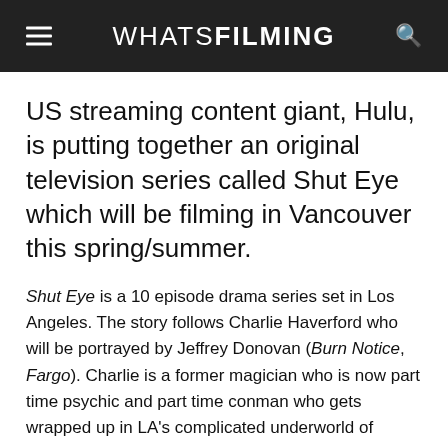WHATSFILMING
US streaming content giant, Hulu, is putting together an original television series called Shut Eye which will be filming in Vancouver this spring/summer.
Shut Eye is a 10 episode drama series set in Los Angeles. The story follows Charlie Haverford who will be portrayed by Jeffrey Donovan (Burn Notice, Fargo). Charlie is a former magician who is now part time psychic and part time conman who gets wrapped up in LA's complicated underworld of organized crime. Charlie starts to have visions that are so vivid it makes him question if they could actually be real.